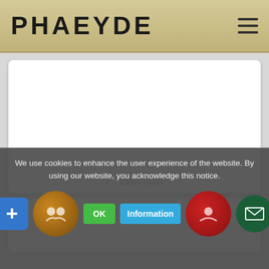PHAEYDE
[Figure (photo): White empty card area for a hair graft photo]
A. - 2500+ Grafts
[Figure (photo): Second white card area for another hair graft photo]
We use cookies to enhance the user experience of the website. By using our website, you acknowledge this notice.